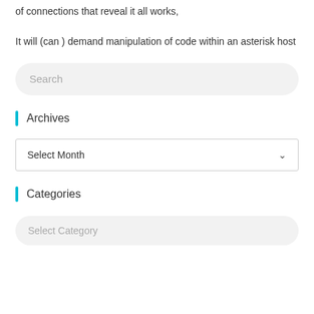of connections that reveal it all works,
It will (can ) demand manipulation of code within an asterisk host
Search
Archives
Select Month
Categories
Select Category